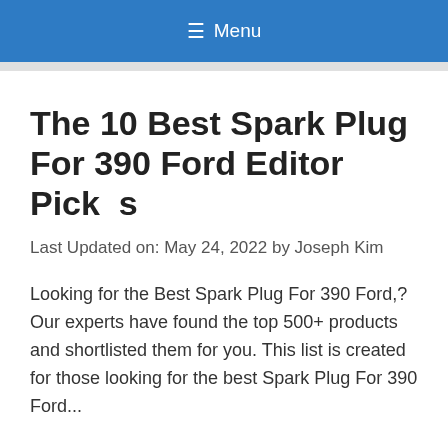≡ Menu
The 10 Best Spark Plug For 390 Ford Editor Pick  s
Last Updated on: May 24, 2022 by Joseph Kim
Looking for the Best Spark Plug For 390 Ford,? Our experts have found the top 500+ products and shortlisted them for you. This list is created for those looking for the best Spark Plug For 390 Ford...